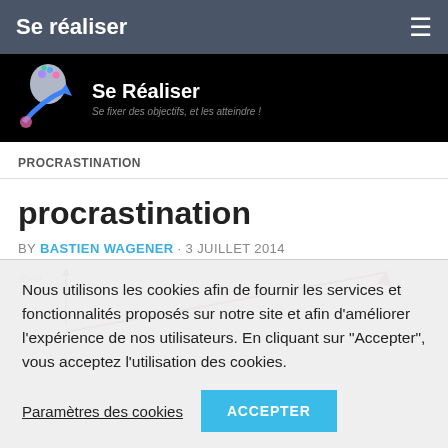Se réaliser
[Figure (logo): Se Réaliser website banner with logo (head with arrow and flowers) and tagline 'Se fixer des objectifs, et les atteindre!']
PROCRASTINATION
procrastination
BY BASTIEN WAGENER · 3 JUILLET 2014
[Figure (other): Partial chart showing a vertical axis labeled 'Élevé' with an upward arrow, and a diagonal line rising from bottom-left to upper-right, partially visible]
Nous utilisons les cookies afin de fournir les services et fonctionnalités proposés sur notre site et afin d'améliorer l'expérience de nos utilisateurs. En cliquant sur "Accepter", vous acceptez l'utilisation des cookies.
Paramètres des cookies
ACCEPTER